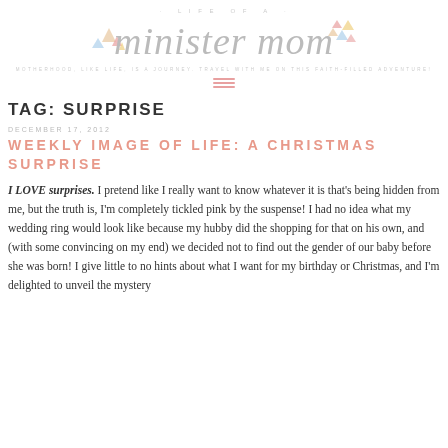[Figure (logo): Life of a Minister Mom blog logo with decorative triangles and italic script text on white background]
TAG: SURPRISE
DECEMBER 17, 2012
WEEKLY IMAGE OF LIFE: A CHRISTMAS SURPRISE
I LOVE surprises.  I pretend like I really want to know whatever it is that's being hidden from me, but the truth is, I'm completely tickled pink by the suspense!  I had no idea what my wedding ring would look like because my hubby did the shopping for that on his own, and (with some convincing on my end) we decided not to find out the gender of our baby before she was born!  I give little to no hints about what I want for my birthday or Christmas, and I'm delighted to unveil the mystery